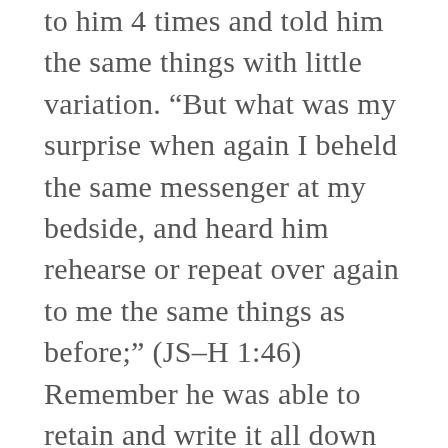to him 4 times and told him the same things with little variation. “But what was my surprise when again I beheld the same messenger at my bedside, and heard him rehearse or repeat over again to me the same things as before;” (JS–H 1:46) Remember he was able to retain and write it all down word for word after he heard it the fourth time.